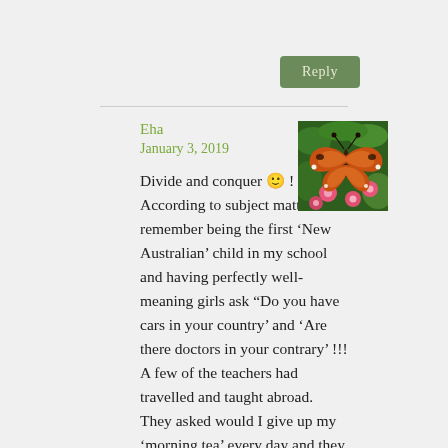Reply
Eha
January 3, 2019
[Figure (photo): Avatar photo of a butterfly (orange/brown) on pink flowers against green background]
Divide and conquer 🙂 ! According to subject matter ! I remember being the first ‘New Australian’ child in my school and having perfectly well-meaning girls ask “Do you have cars in your country’ and ‘Are there doctors in your contrary’ !!! A few of the teachers had travelled and taught abroad. They asked would I give up my ‘morning tea’ every day and they would ‘take me’ shopping and to the bank and the doctor with my parents and the library . . . what do you say when you walk up to the bank teller ? This was ‘doable’ and SO helpful and I soon became my parents’ translator as well – it came in